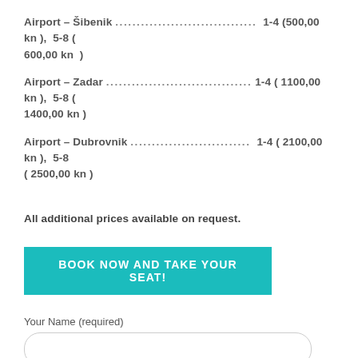Airport – Šibenik ………………………………… 1-4 (500,00 kn ), 5-8 ( 600,00 kn )
Airport – Zadar …………………………………… 1-4 ( 1100,00 kn ), 5-8 ( 1400,00 kn )
Airport – Dubrovnik ………………………………… 1-4 ( 2100,00 kn ), 5-8 ( 2500,00 kn )
All additional prices available on request.
BOOK NOW AND TAKE YOUR SEAT!
Your Name (required)